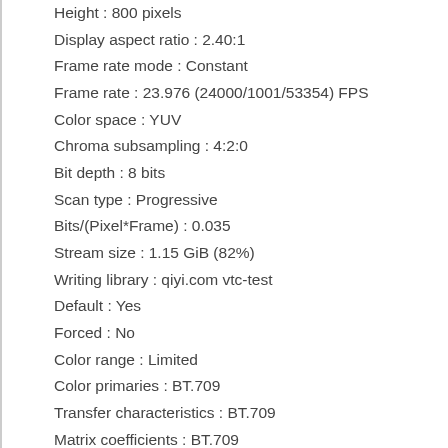Height : 800 pixels
Display aspect ratio : 2.40:1
Frame rate mode : Constant
Frame rate : 23.976 (24000/1001/53354) FPS
Color space : YUV
Chroma subsampling : 4:2:0
Bit depth : 8 bits
Scan type : Progressive
Bits/(Pixel*Frame) : 0.035
Stream size : 1.15 GiB (82%)
Writing library : qiyi.com vtc-test
Default : Yes
Forced : No
Color range : Limited
Color primaries : BT.709
Transfer characteristics : BT.709
Matrix coefficients : BT.709
Audio #1
ID : 2